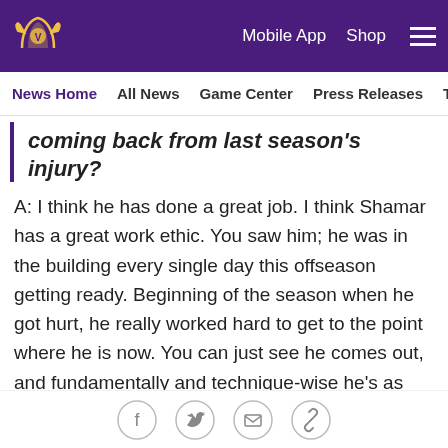Mobile App  Shop  ≡
News Home  All News  Game Center  Press Releases  TCO Per
coming back from last season's injury?
A: I think he has done a great job. I think Shamar has a great work ethic. You saw him; he was in the building every single day this offseason getting ready. Beginning of the season when he got hurt, he really worked hard to get to the point where he is now. You can just see he comes out, and fundamentally and technique-wise he's as sharp a guy you want up there on the front. You can count on him; it's money in the bank. He's going to give you exactly what you ask for or attempt to do it with the best of effort. We're pleased where he's at right now and look for him to continue doing the same things and